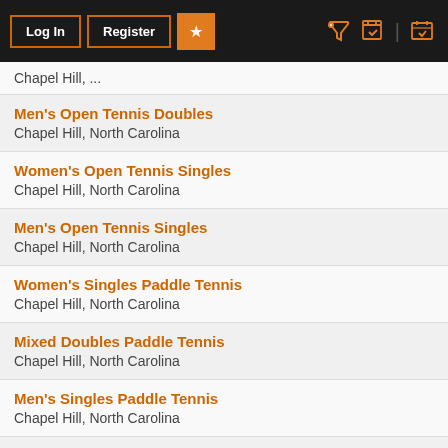Log In | Register | ☆ | 📢 | 📅
Men's Open Tennis Doubles
Chapel Hill, North Carolina
Women's Open Tennis Singles
Chapel Hill, North Carolina
Men's Open Tennis Singles
Chapel Hill, North Carolina
Women's Singles Paddle Tennis
Chapel Hill, North Carolina
Mixed Doubles Paddle Tennis
Chapel Hill, North Carolina
Men's Singles Paddle Tennis
Chapel Hill, North Carolina
Jay's Ladder
Cary, North Carolina